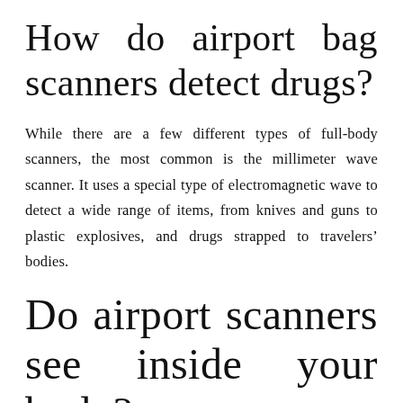How do airport bag scanners detect drugs?
While there are a few different types of full-body scanners, the most common is the millimeter wave scanner. It uses a special type of electromagnetic wave to detect a wide range of items, from knives and guns to plastic explosives, and drugs strapped to travelers’ bodies.
Do airport scanners see inside your body?
Airport body scanners are designed to detect masses either on your body or hidden inside of your clothes —